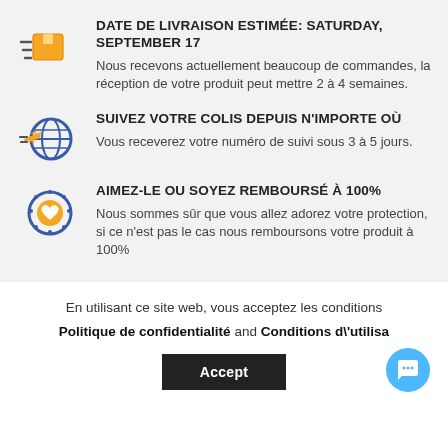DATE DE LIVRAISON ESTIMÉE: SATURDAY, SEPTEMBER 17
Nous recevons actuellement beaucoup de commandes, la réception de votre produit peut mettre 2 à 4 semaines.
SUIVEZ VOTRE COLIS DEPUIS N'IMPORTE OÙ
Vous receverez votre numéro de suivi sous 3 à 5 jours.
AIMEZ-LE OU SOYEZ REMBOURSÉ À 100%
Nous sommes sûr que vous allez adorez votre protection, si ce n'est pas le cas nous remboursons votre produit à 100%
En utilisant ce site web, vous acceptez les conditions Politique de confidentialité and Conditions d\'utilisa...
Accept